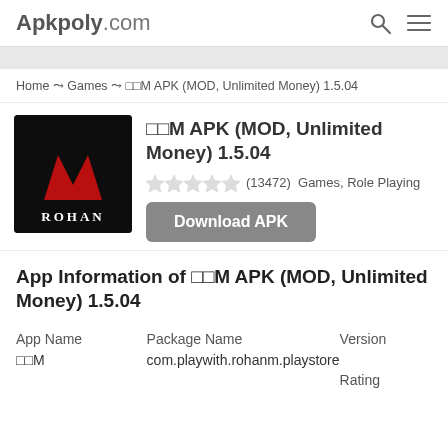Apkpoly.com
Home › Games › □□M APK (MOD, Unlimited Money) 1.5.04
[Figure (logo): Rohan M game logo — dark background with red stylized M and white ROHAN text]
□□M APK (MOD, Unlimited Money) 1.5.04
(13472) Games, Role Playing
Download APK
App Information of □□M APK (MOD, Unlimited Money) 1.5.04
| App Name | Package Name | Version |
| --- | --- | --- |
| □□M | com.playwith.rohanm.playstore |  |
|  |  | Rating |